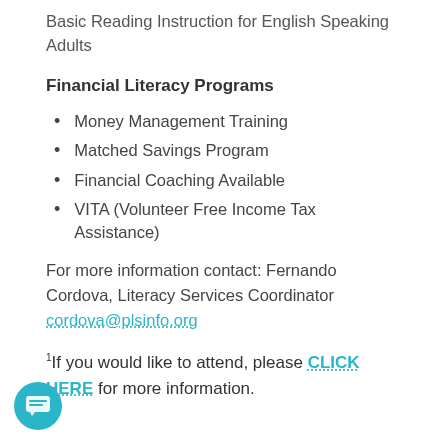Basic Reading Instruction for English Speaking Adults
Financial Literacy Programs
Money Management Training
Matched Savings Program
Financial Coaching Available
VITA (Volunteer Free Income Tax Assistance)
For more information contact: Fernando Cordova, Literacy Services Coordinator cordova@plsinfo.org
If you would like to attend, please CLICK HERE for more information.